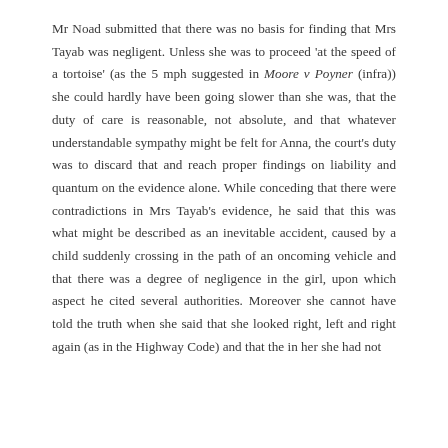Mr Noad submitted that there was no basis for finding that Mrs Tayab was negligent. Unless she was to proceed 'at the speed of a tortoise' (as the 5 mph suggested in Moore v Poyner (infra)) she could hardly have been going slower than she was, that the duty of care is reasonable, not absolute, and that whatever understandable sympathy might be felt for Anna, the court's duty was to discard that and reach proper findings on liability and quantum on the evidence alone. While conceding that there were contradictions in Mrs Tayab's evidence, he said that this was what might be described as an inevitable accident, caused by a child suddenly crossing in the path of an oncoming vehicle and that there was a degree of negligence in the girl, upon which aspect he cited several authorities. Moreover she cannot have told the truth when she said that she looked right, left and right again (as in the Highway Code) and that the in her she had not...